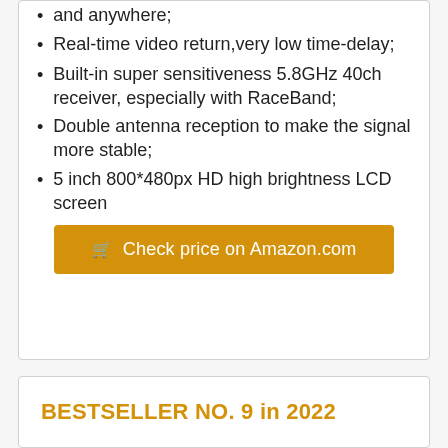and anywhere;
Real-time video return,very low time-delay;
Built-in super sensitiveness 5.8GHz 40ch receiver, especially with RaceBand;
Double antenna reception to make the signal more stable;
5 inch 800*480px HD high brightness LCD screen
🛒 Check price on Amazon.com
BESTSELLER NO. 9 in 2022